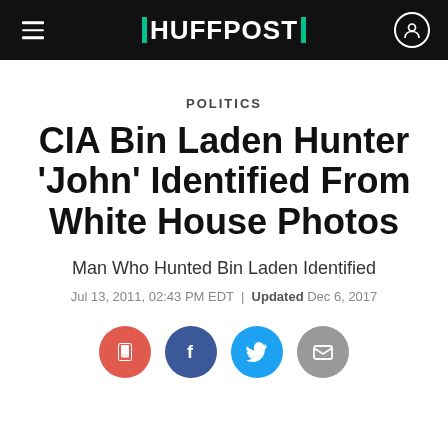HUFFPOST
POLITICS
CIA Bin Laden Hunter 'John' Identified From White House Photos
Man Who Hunted Bin Laden Identified
Jul 13, 2011, 02:43 PM EDT | Updated Dec 6, 2017
[Figure (other): Social sharing buttons: bookmark, Facebook, Twitter, email]